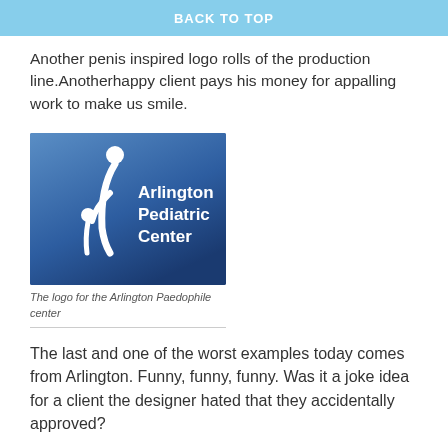BACK TO TOP
Another penis inspired logo rolls of the production line.Anotherhappy client pays his money for appalling work to make us smile.
[Figure (logo): Arlington Pediatric Center logo — blue gradient background with white stylized adult and child figure, text reading 'Arlington Pediatric Center']
The logo for the Arlington Paedophile center
The last and one of the worst examples today comes from Arlington. Funny, funny, funny. Was it a joke idea for a client the designer hated that they accidentally approved?